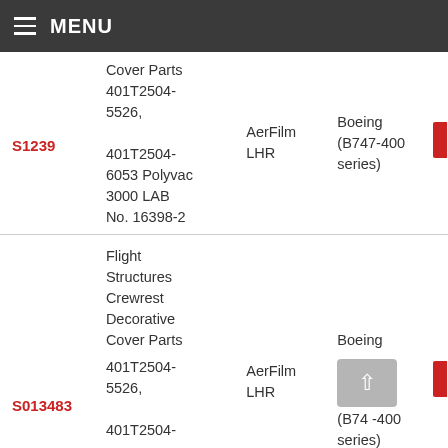MENU
| ID | Parts | Film | Aircraft |  |
| --- | --- | --- | --- | --- |
| S1239 | Cover Parts 401T2504-5526, 401T2504-6053 Polyvac 3000 LAB No. 16398-2 | AerFilm LHR | Boeing (B747-400 series) |  |
| S013483 | Flight Structures Crewrest Decorative Cover Parts 401T2504-5526, 401T2504- | AerFilm LHR | Boeing (B747-400 series) |  |